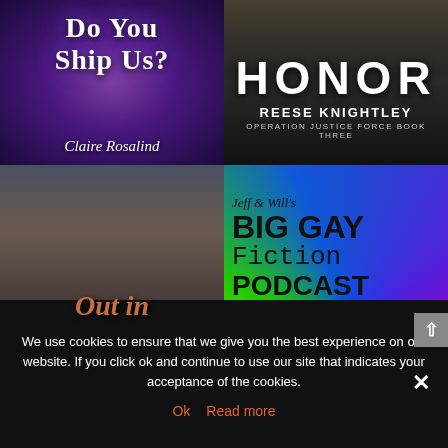[Figure (illustration): Book cover: Do You Ship Us? by Claire Rosalind. Purple/galaxy background with white decorative serif text.]
[Figure (illustration): Book cover: HONOR by Reese Knightley. Operation Justice Force Book Three. Dark dramatic background with large white capital letters.]
[Figure (illustration): Book cover: Out in [something]. Victorian-dressed man in top hat and red scarf standing in front of old building. Illustrated style.]
[Figure (illustration): Podcast logo: Jeff & Will's Big Gay Fiction Podcast. Rainbow sunburst background with bold black text.]
We use cookies to ensure that we give you the best experience on our website. If you click ok and continue to use our site that indicates your acceptance of the cookies.
Ok
Read more